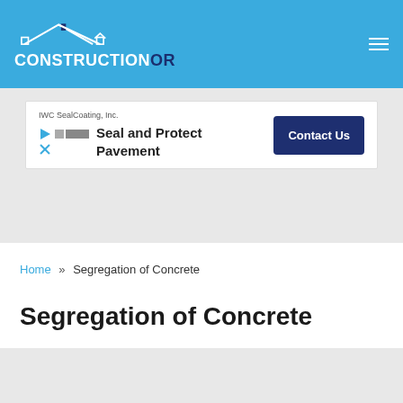CONSTRUCTIONOR
[Figure (screenshot): Advertisement banner for IWC SealCoating, Inc. with text 'Seal and Protect Pavement' and a 'Contact Us' button]
Home » Segregation of Concrete
Segregation of Concrete